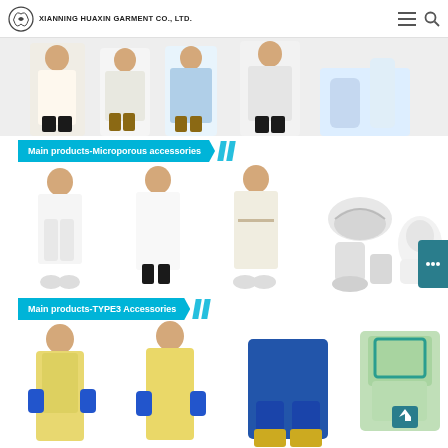XIANNING HUAXIN GARMENT CO., LTD.
[Figure (photo): Row of people wearing protective gowns, lab coats, and shoe covers — top product strip]
[Figure (infographic): Blue banner: Main products-Microporous accessories]
[Figure (photo): Row of people and accessories in microporous protective garments — white gowns, shoe covers, hood]
[Figure (infographic): Blue banner: Main products-TYPE3 Accessories]
[Figure (photo): Row of people in TYPE3 yellow and blue protective suits — partial view at bottom]